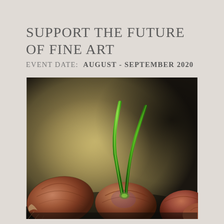SUPPORT THE FUTURE OF FINE ART
EVENT DATE:  AUGUST - SEPTEMBER 2020
[Figure (photo): A photorealistic oil painting or photograph of shallot onions with sprouting green shoots against a dark olive-brown background. Multiple reddish-brown shallots are arranged along the bottom, with one displaying vibrant green shoots growing upward from its center.]